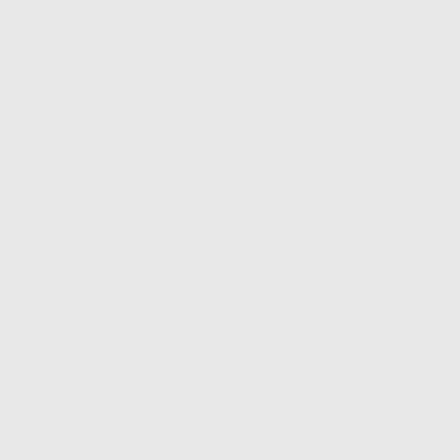the cap by ma into it wit a hon trip
Au we not am
Last edited by Martian Communities on Sun Nov 12, 2017 9:22 pm, edited